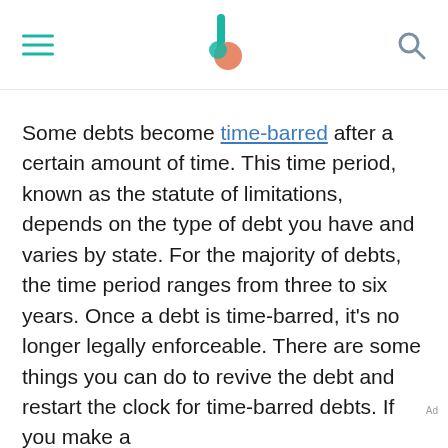[Navigation header with hamburger menu, logo, and search icon]
Some debts become time-barred after a certain amount of time. This time period, known as the statute of limitations, depends on the type of debt you have and varies by state. For the majority of debts, the time period ranges from three to six years. Once a debt is time-barred, it's no longer legally enforceable. There are some things you can do to revive the debt and restart the clock for time-barred debts. If you make a
Ad